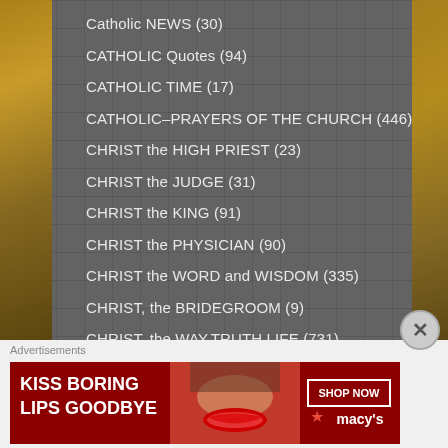Catholic NEWS (30)
CATHOLIC Quotes (94)
CATHOLIC TIME (17)
CATHOLIC–PRAYERS OF THE CHURCH (446)
CHRIST the HIGH PRIEST (23)
CHRIST the JUDGE (31)
CHRIST the KING (91)
CHRIST the PHYSICIAN (90)
CHRIST the WORD and WISDOM (335)
CHRIST, the BRIDEGROOM (9)
CHRIST, the WAY,TRUTH,LIFE (731)
Advertisements
[Figure (photo): Macys advertisement banner: 'KISS BORING LIPS GOODBYE' with woman's face and red lips, red background with SHOP NOW button and Macy's logo]